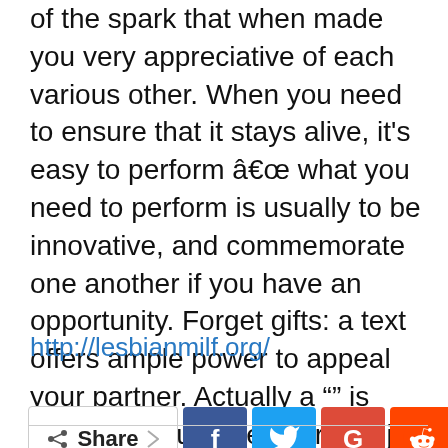of the spark that when made you very appreciative of each various other. When you need to ensure that it stays alive, it’s easy to perform â what you need to perform is usually to be innovative, and commemorate one another if you have an opportunity. Forget gifts: a text offers ample power to appeal your partner. Actually a “” is enough to surprise their and jolt your connection out-of their state of complacency. Best of luck, and happy texting!
http://lesbianmilf.org/
[Figure (infographic): Social share bar with Share button, Facebook, Twitter, Google+, Reddit, WhatsApp, and more (+) buttons]